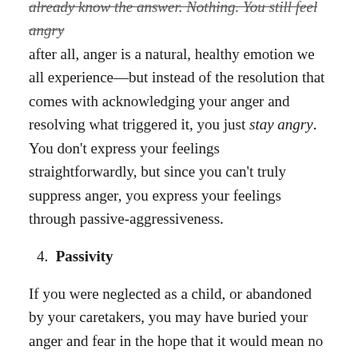already know the answer. Nothing. You still feel angry after all, anger is a natural, healthy emotion we all experience—but instead of the resolution that comes with acknowledging your anger and resolving what triggered it, you just stay angry. You don't express your feelings straightforwardly, but since you can't truly suppress anger, you express your feelings through passive-aggressiveness.
4. Passivity
If you were neglected as a child, or abandoned by your caretakers, you may have buried your anger and fear in the hope that it would mean no one will ever abandon or neglect you again. What happens when children do this, though, is that we end up abandoning ourselves. We hold ourselves back when we don't feel our feelings. We end up passive, and we don't live up to our potential. The